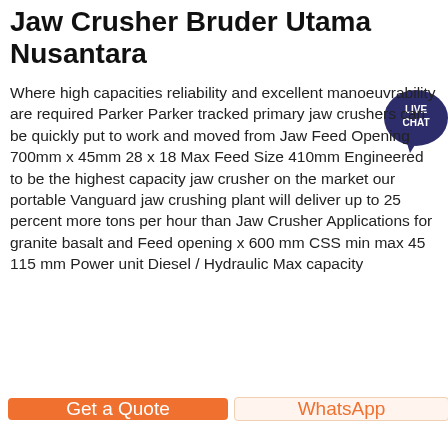Jaw Crusher Bruder Utama Nusantara
Where high capacities reliability and excellent manoeuvrability are required Parker Parker tracked primary jaw crushers can be quickly put to work and moved from Jaw Feed Opening 700mm x 45mm 28 x 18 Max Feed Size 410mm Engineered to be the highest capacity jaw crusher on the market our portable Vanguard jaw crushing plant will deliver up to 25 percent more tons per hour than Jaw Crusher Applications for granite basalt and Feed opening x 600 mm CSS min max 45 115 mm Power unit Diesel / Hydraulic Max capacity
[Figure (illustration): Live Chat speech bubble badge in dark blue/purple with text LIVE CHAT]
Learn More
[Figure (photo): Industrial jaw crusher machinery photographed from above on a dark background with a green diagonal line/element visible]
Get a Quote
WhatsApp